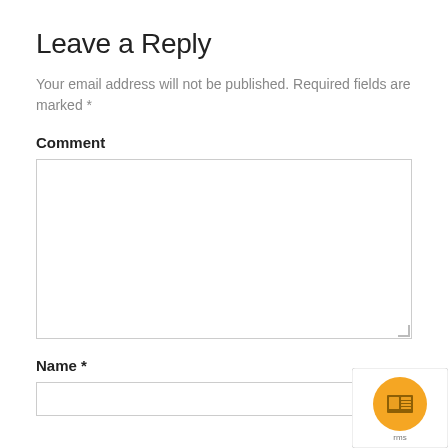Leave a Reply
Your email address will not be published. Required fields are marked *
Comment
Name *
[Figure (logo): reCAPTCHA badge with orange circle icon and 'rms' text visible at bottom right corner of page]